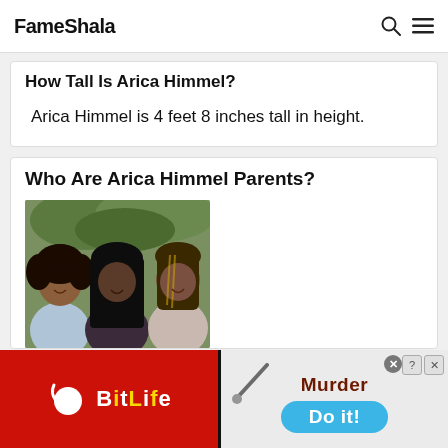FameShala
How Tall Is Arica Himmel?
Arica Himmel is 4 feet 8 inches tall in height.
Who Are Arica Himmel Parents?
[Figure (photo): Photo of three young women smiling together outdoors with greenery in background]
[Figure (advertisement): BitLife app advertisement on red background with yellow logo on left, and Murder/Do it! game ad on dark background on right with blue button]